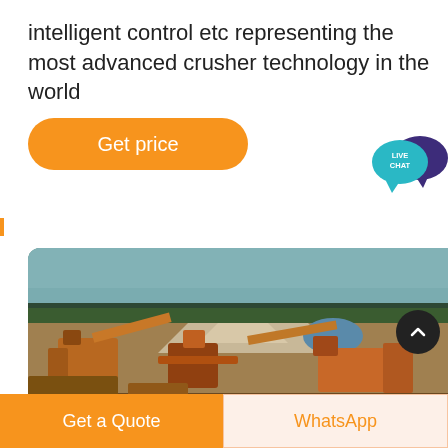intelligent control etc representing the most advanced crusher technology in the world
Get price
[Figure (other): Live Chat speech bubble icon with teal and dark purple overlapping bubbles, text 'LIVE CHAT' inside teal bubble]
[Figure (photo): Outdoor photo of a crusher/quarry machinery site with orange heavy equipment, conveyor belts, and gravel piles in foreground; trees and overcast sky in background]
Get a Quote
WhatsApp